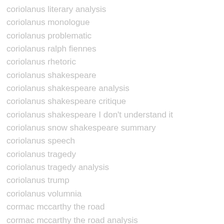coriolanus literary analysis
coriolanus monologue
coriolanus problematic
coriolanus ralph fiennes
coriolanus rhetoric
coriolanus shakespeare
coriolanus shakespeare analysis
coriolanus shakespeare critique
coriolanus shakespeare I don't understand it
coriolanus snow shakespeare summary
coriolanus speech
coriolanus tragedy
coriolanus tragedy analysis
coriolanus trump
coriolanus volumnia
cormac mccarthy the road
cormac mccarthy the road analysis
cormac mccarthy the road essay